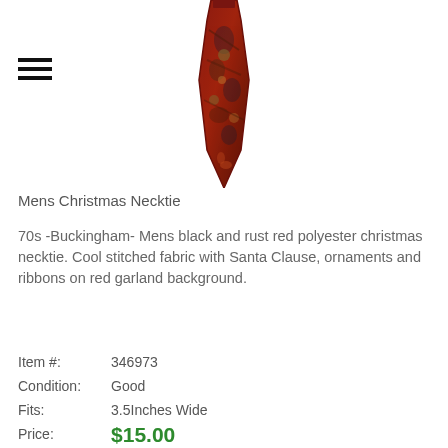[Figure (photo): A men's Christmas necktie with black and rust red floral/holiday pattern featuring Santa Clause, ornaments and ribbons on red garland background, shown hanging vertically on white background.]
Mens Christmas Necktie
70s -Buckingham- Mens black and rust red polyester christmas necktie. Cool stitched fabric with Santa Clause, ornaments and ribbons on red garland background.
| Item #: | 346973 |
| Condition: | Good |
| Fits: | 3.5Inches Wide |
| Price: | $15.00 |